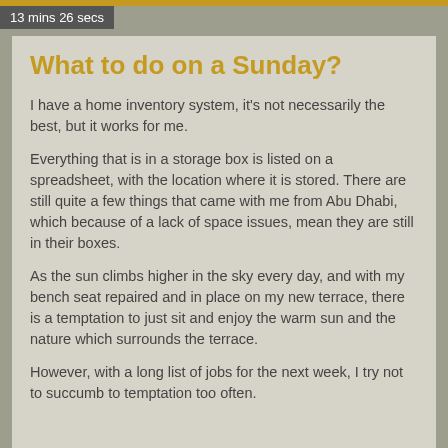13 mins 26 secs
What to do on a Sunday?
I have a home inventory system, it's not necessarily the best, but it works for me.
Everything that is in a storage box is listed on a spreadsheet, with the location where it is stored. There are still quite a few things that came with me from Abu Dhabi, which because of a lack of space issues, mean they are still in their boxes.
As the sun climbs higher in the sky every day, and with my bench seat repaired and in place on my new terrace, there is a temptation to just sit and enjoy the warm sun and the nature which surrounds the terrace.
However, with a long list of jobs for the next week, I try not to succumb to temptation too often.